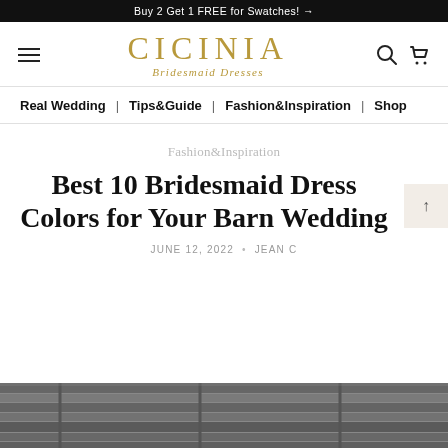Buy 2 Get 1 FREE for Swatches! →
[Figure (logo): CICINIA Bridesmaid Dresses logo with hamburger menu, search and cart icons]
Real Wedding | Tips&Guide | Fashion&Inspiration | Shop
Fashion&Inspiration
Best 10 Bridesmaid Dress Colors for Your Barn Wedding
JUNE 12, 2022 • JEAN C
[Figure (photo): Black and white photo showing a barn structure, partial view at bottom of page]